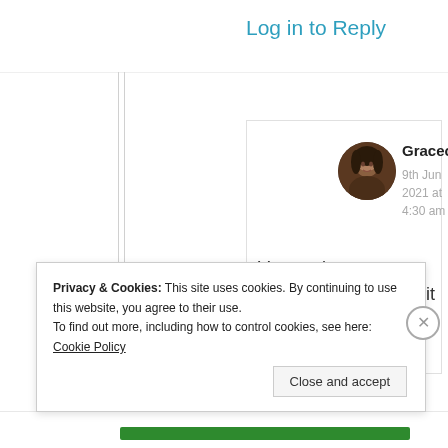Log in to Reply
[Figure (photo): Circular avatar photo of user GraceoftheSun, showing a person with dark hair]
GraceoftheSun
9th Jun 2021 at 4:30 am
Very welcome my friend.No worries, visit whenever you wish or
Privacy & Cookies: This site uses cookies. By continuing to use this website, you agree to their use.
To find out more, including how to control cookies, see here: Cookie Policy
Close and accept